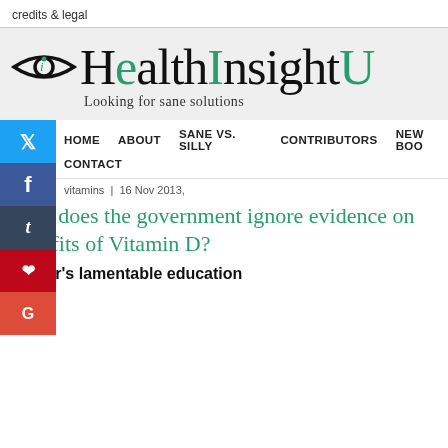credits & legal
[Figure (logo): HealthInsightU logo with eye icon and tagline 'Looking for sane solutions']
HOME   ABOUT   SANE VS. SILLY   CONTRIBUTORS   NEW BOO   CONTACT
vitamins  |  16 Nov 2013,
Why does the government ignore evidence on benefits of Vitamin D?
Doctor's lamentable education